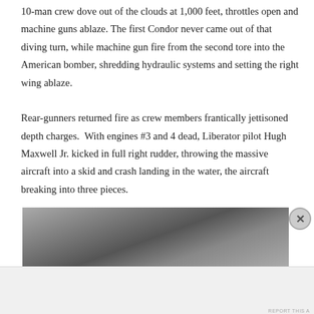10-man crew dove out of the clouds at 1,000 feet, throttles open and machine guns ablaze. The first Condor never came out of that diving turn, while machine gun fire from the second tore into the American bomber, shredding hydraulic systems and setting the right wing ablaze.
Rear-gunners returned fire as crew members frantically jettisoned depth charges. With engines #3 and 4 dead, Liberator pilot Hugh Maxwell Jr. kicked in full right rudder, throwing the massive aircraft into a skid and crash landing in the water, the aircraft breaking into three pieces.
[Figure (photo): Black and white aerial or sky photograph, grayscale, showing clouds or smoke]
Advertisements
[Figure (photo): Victoria's Secret advertisement banner with a woman's face on the left, VS logo, and text SHOP THE COLLECTION with a SHOP NOW button]